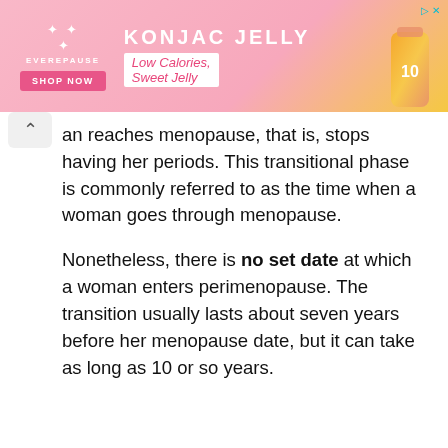[Figure (other): Pink and yellow advertisement banner for Everypause Konjac Jelly with text 'KONJAC JELLY', 'Low Calories, Sweet Jelly', 'SHOP NOW' button, brand logo with stars, and product image on right side. Skip ad controls visible at top right.]
an reaches menopause, that is, stops having her periods. This transitional phase is commonly referred to as the time when a woman goes through menopause.
Nonetheless, there is no set date at which a woman enters perimenopause. The transition usually lasts about seven years before her menopause date, but it can take as long as 10 or so years.